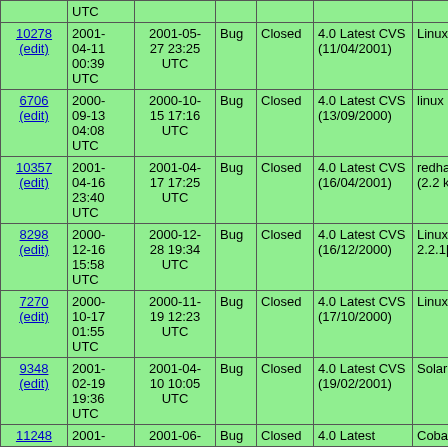| ID | Created | Modified | Type | Status | Version | OS | Summary |
| --- | --- | --- | --- | --- | --- | --- | --- |
|  | UTC |  |  |  |  |  | dated |
| 10278 (edit) | 2001-04-11 00:39 UTC | 2001-05-27 23:25 UTC | Bug | Closed | 4.0 Latest CVS (11/04/2001) | Linux | Apac... |
| 6706 (edit) | 2000-09-13 04:08 UTC | 2000-10-15 17:16 UTC | Bug | Closed | 4.0 Latest CVS (13/09/2000) | linux | virtua... proble... |
| 10357 (edit) | 2001-04-16 23:40 UTC | 2001-04-17 17:25 UTC | Bug | Closed | 4.0 Latest CVS (16/04/2001) | redhat 6.2 (2.2 kernel) | php4 apac... |
| 8298 (edit) | 2000-12-16 15:58 UTC | 2000-12-28 19:34 UTC | Bug | Closed | 4.0 Latest CVS (16/12/2000) | Linux 2.2.1[78] | Apac... php n... |
| 7270 (edit) | 2000-10-17 01:55 UTC | 2000-11-19 12:23 UTC | Bug | Closed | 4.0 Latest CVS (17/10/2000) | Linux 2.2.9 | Instal... 1.3.14... respo... |
| 9348 (edit) | 2001-02-19 19:36 UTC | 2001-04-10 10:05 UTC | Bug | Closed | 4.0 Latest CVS (19/02/2001) | Solaris 2.6 | symb... refere... found... |
| 11248 | 2001- | 2001-06- | Bug | Closed | 4.0 Latest | Cobalt | Apac... |